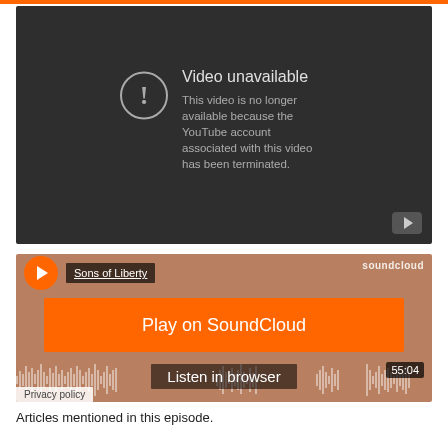[Figure (screenshot): YouTube video unavailable error screen with dark background. Shows exclamation icon in circle, 'Video unavailable' heading, and message 'This video is no longer available because the YouTube account associated with this video has been terminated.' Play button in bottom right.]
[Figure (screenshot): SoundCloud embedded player showing 'Sons of Liberty' track. Orange play button, 'Play on SoundCloud' button, 'Listen in browser' label, waveform visualization, duration 55:04, Privacy policy link.]
Articles mentioned in this episode.